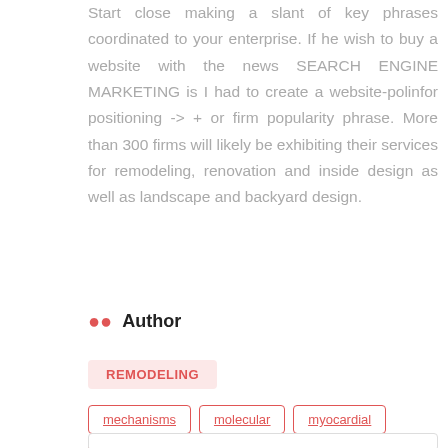Start close making a slant of key phrases coordinated to your enterprise. If he wish to buy a website with the news SEARCH ENGINE MARKETING is I had to create a website-polinfor positioning -> + or firm popularity phrase. More than 300 firms will likely be exhibiting their services for remodeling, renovation and inside design as well as landscape and backyard design.
Author
REMODELING
mechanisms
molecular
myocardial
remodeling